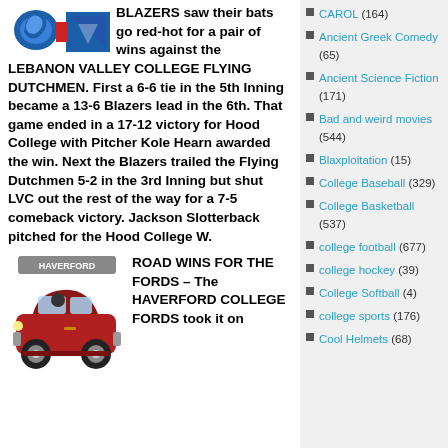[Figure (logo): Hood College Blazers logo with blue and red shield emblem]
BLAZERS saw their bats go red-hot for a pair of wins against the LEBANON VALLEY COLLEGE FLYING DUTCHMEN. First a 6-6 tie in the 5th Inning became a 13-6 Blazers lead in the 6th. That game ended in a 17-12 victory for Hood College with Pitcher Kole Hearn awarded the win. Next the Blazers trailed the Flying Dutchmen 5-2 in the 3rd Inning but shut LVC out the rest of the way for a 7-5 comeback victory. Jackson Slotterback pitched for the Hood College W.
[Figure (illustration): Haverford College Fords vintage red car mascot illustration with 'HAVERFORD' banner]
ROAD WINS FOR THE FORDS – The HAVERFORD COLLEGE FORDS took it on...
CAROL (164)
Ancient Greek Comedy (65)
Ancient Science Fiction (171)
Bad and weird movies (544)
Blaxploitation (15)
College Baseball (329)
College Basketball (537)
college football (677)
college hockey (39)
College Softball (4)
college sports (176)
Cool Helmets (68)